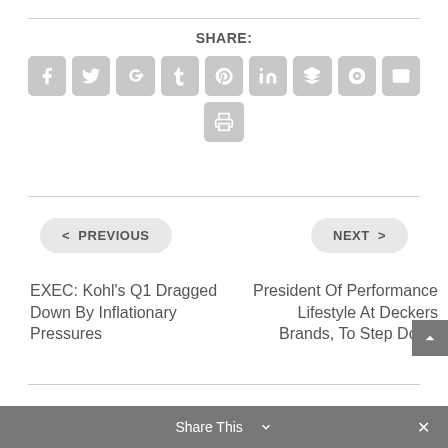SHARE:
[Figure (infographic): Social sharing icons: Facebook, Twitter, Google+, Tumblr, Pinterest, LinkedIn, Buffer, StumbleUpon, Email, Print — gray rounded square buttons]
< PREVIOUS
NEXT >
EXEC: Kohl’s Q1 Dragged Down By Inflationary Pressures
President Of Performance Lifestyle At Deckers Brands, To Step Down
Share This ∨  ×